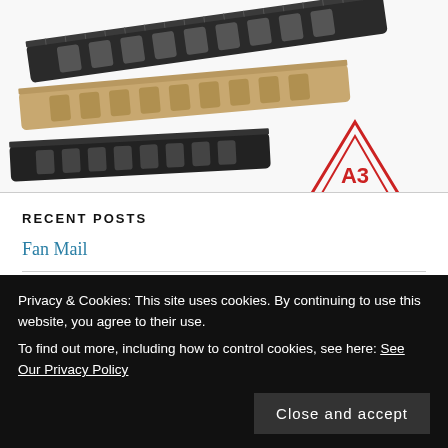[Figure (photo): Product photo showing multiple rifle handguards/rail systems in black and tan/FDE colors, with AT3 Tactical logo in lower right corner]
RECENT POSTS
Fan Mail
Joe Biden's Disinformation Governance Board is a Dangerous Idea
Privacy & Cookies: This site uses cookies. By continuing to use this website, you agree to their use. To find out more, including how to control cookies, see here: See Our Privacy Policy
The Chaos of Freedom is Far Better Than the